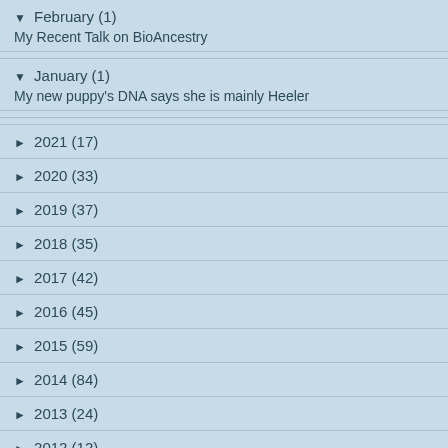▼ February (1)
My Recent Talk on BioAncestry
▼ January (1)
My new puppy's DNA says she is mainly Heeler
► 2021 (17)
► 2020 (33)
► 2019 (37)
► 2018 (35)
► 2017 (42)
► 2016 (45)
► 2015 (59)
► 2014 (84)
► 2013 (24)
► 2012 (12)